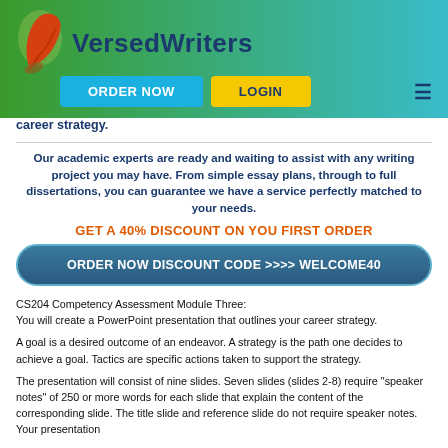[Figure (logo): VersedWriters logo with red feather quill and dark blue brand name text on green-to-teal gradient header]
career strategy.
Our academic experts are ready and waiting to assist with any writing project you may have. From simple essay plans, through to full dissertations, you can guarantee we have a service perfectly matched to your needs.
GET A 40% DISCOUNT ON YOU FIRST ORDER
ORDER NOW DISCOUNT CODE >>>> WELCOME40
CS204 Competency Assessment Module Three:
You will create a PowerPoint presentation that outlines your career strategy.
A goal is a desired outcome of an endeavor. A strategy is the path one decides to achieve a goal. Tactics are specific actions taken to support the strategy.
The presentation will consist of nine slides. Seven slides (slides 2-8) require "speaker notes" of 250 or more words for each slide that explain the content of the corresponding slide. The title slide and reference slide do not require speaker notes. Your presentation